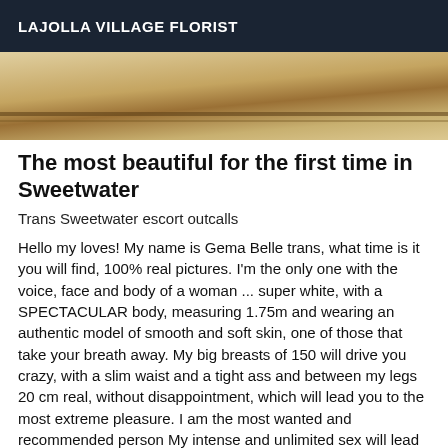LAJOLLA VILLAGE FLORIST
[Figure (photo): Partial photo showing a wooden surface or furniture, tan and brown tones]
The most beautiful for the first time in Sweetwater
Trans Sweetwater escort outcalls
Hello my loves! My name is Gema Belle trans, what time is it you will find, 100% real pictures. I'm the only one with the voice, face and body of a woman ... super white, with a SPECTACULAR body, measuring 1.75m and wearing an authentic model of smooth and soft skin, one of those that take your breath away. My big breasts of 150 will drive you crazy, with a slim waist and a tight ass and between my legs 20 cm real, without disappointment, which will lead you to the most extreme pleasure. I am the most wanted and recommended person My intense and unlimited sex will lead you to the